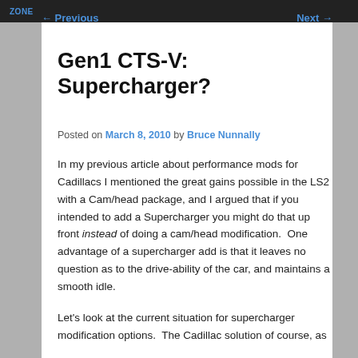ZONE
← Previous    Next →
Gen1 CTS-V: Supercharger?
Posted on March 8, 2010 by Bruce Nunnally
In my previous article about performance mods for Cadillacs I mentioned the great gains possible in the LS2 with a Cam/head package, and I argued that if you intended to add a Supercharger you might do that up front instead of doing a cam/head modification.  One advantage of a supercharger add is that it leaves no question as to the drive-ability of the car, and maintains a smooth idle.
Let's look at the current situation for supercharger modification options.  The Cadillac solution of course, as